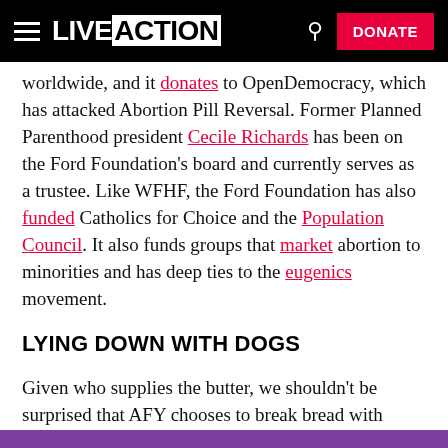LIVE ACTION | DONATE
worldwide, and it donates to OpenDemocracy, which has attacked Abortion Pill Reversal. Former Planned Parenthood president Cecile Richards has been on the Ford Foundation's board and currently serves as a trustee. Like WFHF, the Ford Foundation has also funded Catholics for Choice and the Population Council. It also funds groups that market abortion to minorities and has deep ties to the eugenics movement.
LYING DOWN WITH DOGS
Given who supplies the butter, we shouldn’t be surprised that AFY chooses to break bread with some pretty shady characters.